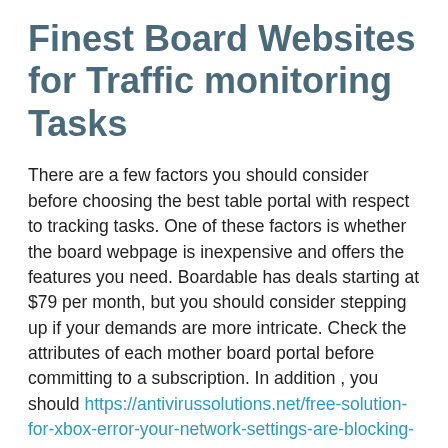Finest Board Websites for Traffic monitoring Tasks
There are a few factors you should consider before choosing the best table portal with respect to tracking tasks. One of these factors is whether the board webpage is inexpensive and offers the features you need. Boardable has deals starting at $79 per month, but you should consider stepping up if your demands are more intricate. Check the attributes of each mother board portal before committing to a subscription. In addition , you should https://antivirussolutions.net/free-solution-for-xbox-error-your-network-settings-are-blocking-party-chat-pc/ look into the protection of the webpages, as well.
The best board sites for tracking tasks enables board paid members to view interacting with materials and minutes and review past meeting materials. They will also currently